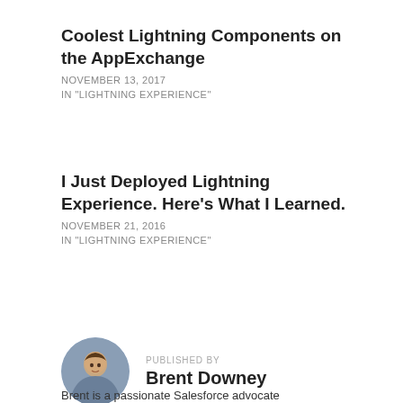Coolest Lightning Components on the AppExchange
NOVEMBER 13, 2017
IN "LIGHTNING EXPERIENCE"
I Just Deployed Lightning Experience. Here's What I Learned.
NOVEMBER 21, 2016
IN "LIGHTNING EXPERIENCE"
PUBLISHED BY
Brent Downey
Brent is a passionate Salesforce advocate